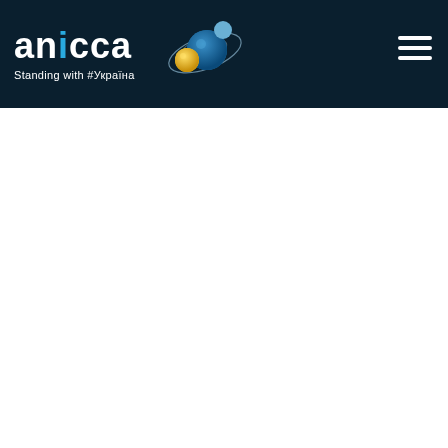anicca — Standing with #Україна